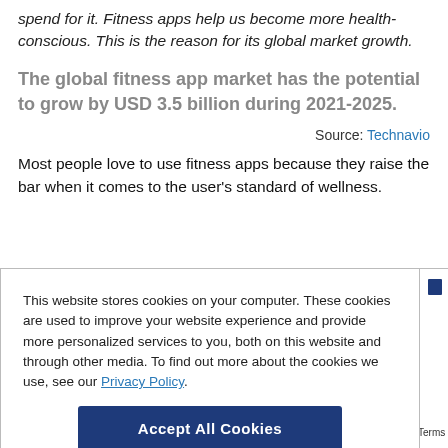spend for it. Fitness apps help us become more health-conscious. This is the reason for its global market growth.
The global fitness app market has the potential to grow by USD 3.5 billion during 2021-2025.
Source: Technavio
Most people love to use fitness apps because they raise the bar when it comes to the user's standard of wellness.
This website stores cookies on your computer. These cookies are used to improve your website experience and provide more personalized services to you, both on this website and through other media. To find out more about the cookies we use, see our Privacy Policy.
Accept All Cookies